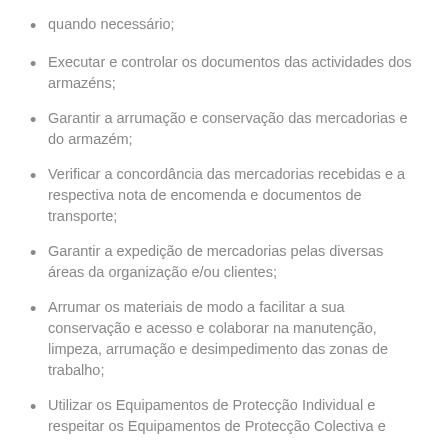quando necessário;
Executar e controlar os documentos das actividades dos armazéns;
Garantir a arrumação e conservação das mercadorias e do armazém;
Verificar a concordância das mercadorias recebidas e a respectiva nota de encomenda e documentos de transporte;
Garantir a expedição de mercadorias pelas diversas áreas da organização e/ou clientes;
Arrumar os materiais de modo a facilitar a sua conservação e acesso e colaborar na manutenção, limpeza, arrumação e desimpedimento das zonas de trabalho;
Utilizar os Equipamentos de Protecção Individual e respeitar os Equipamentos de Protecção Colectiva e